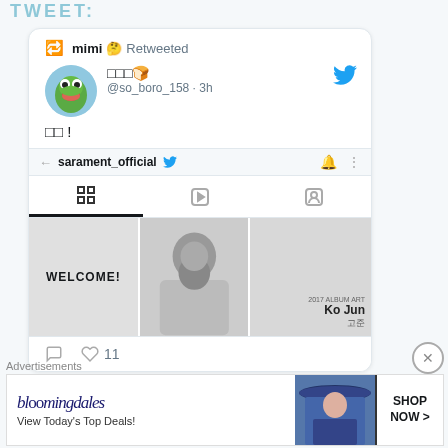TWEET:
[Figure (screenshot): Twitter/social media screenshot showing a retweet by 'mimi' with emoji, original tweet by @so_boro_158 posted 3h ago with Kermit avatar, Korean text, and embedded profile grid with WELCOME and Ko Jun images. Action bar shows reply and 11 likes.]
Advertisements
[Figure (screenshot): Bloomingdale's advertisement banner: 'bloomingdales' logo, 'View Today's Top Deals!' text, photo of woman with hat, 'SHOP NOW >' button]